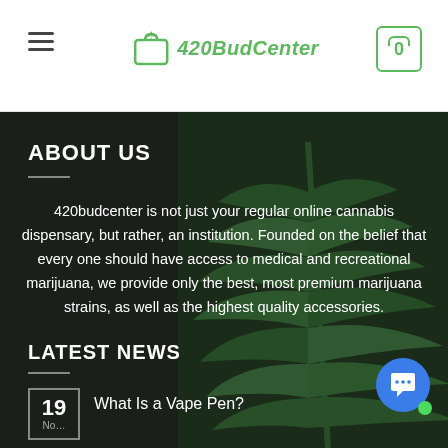420BudCenter — navigation header with menu icon, logo, and cart icon showing 0
[Figure (screenshot): Dark background with large green cannabis leaf filling the right side]
ABOUT US
420budcenter is not just your regular online cannabis dispensary, but rather, an institution. Founded on the belief that every one should have access to medical and recreational marijuana, we provide only the best, most premium marijuana strains, as well as the highest quality accessories.
LATEST NEWS
19 — What Is a Vape Pen?